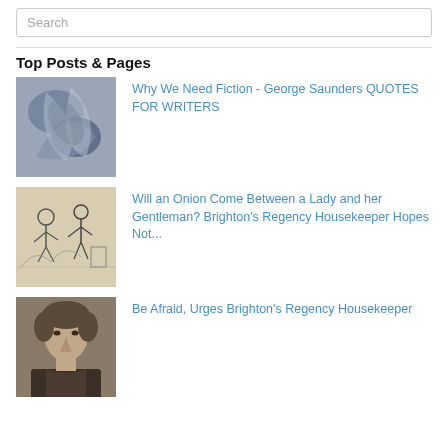Search
Top Posts & Pages
[Figure (illustration): Abstract swirling dark blue and grey illustration]
Why We Need Fiction - George Saunders QUOTES FOR WRITERS
[Figure (illustration): Black and white sketch of figures in a scene]
Will an Onion Come Between a Lady and her Gentleman? Brighton's Regency Housekeeper Hopes Not...
[Figure (photo): Sepia portrait photograph of a young man]
Be Afraid, Urges Brighton's Regency Housekeeper